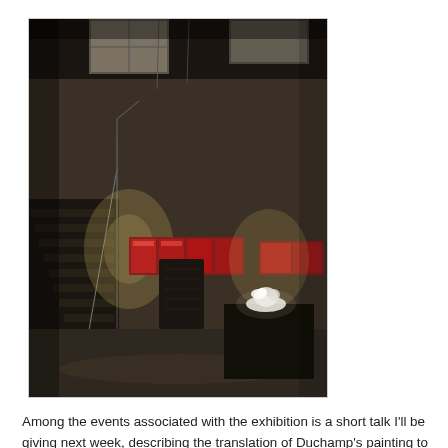[Figure (photo): Interior photo of an industrial or warehouse-style gallery space with dark concrete walls, skylights/windows at the top, stairs on the left, horizontal display panels/lightboxes mounted on the walls, a dark pedestal with a white object on top in the center-right, and ambient dramatic lighting.]
Among the events associated with the exhibition is a short talk I'll be giving next week, describing the translation of Duchamp's painting to the rather different medium of staged opera. I've written about this before on this blog; today, since I just finished re-notating its first movement, I'll introduce you to my concerto for